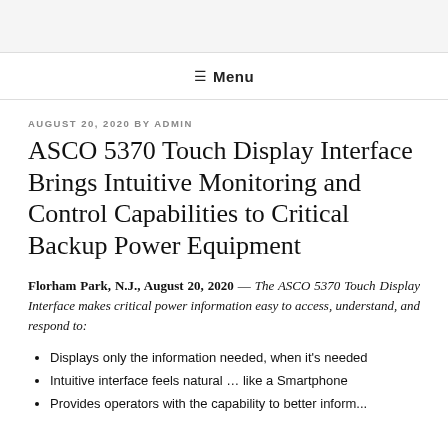≡ Menu
AUGUST 20, 2020 BY ADMIN
ASCO 5370 Touch Display Interface Brings Intuitive Monitoring and Control Capabilities to Critical Backup Power Equipment
Florham Park, N.J., August 20, 2020 — The ASCO 5370 Touch Display Interface makes critical power information easy to access, understand, and respond to:
Displays only the information needed, when it's needed
Intuitive interface feels natural … like a Smartphone
Provides operators with the capability to better inform...